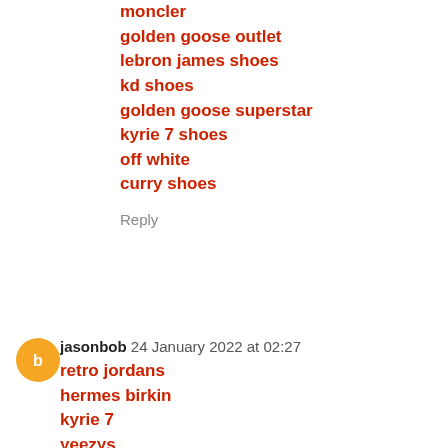moncler
golden goose outlet
lebron james shoes
kd shoes
golden goose superstar
kyrie 7 shoes
off white
curry shoes
Reply
jasonbob  24 January 2022 at 02:27
retro jordans
hermes birkin
kyrie 7
yeezys
lebron 17
supreme new york
jordan shoes
lebron shoes
golden goose shoes
steph curry shoes